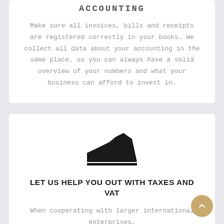ACCOUNTING
Make sure all invoices, bills and receipts are registered correctly in your books. We collect all data about your accounting in the same place, so you can always have a solid overview of your numbers and what your business can afford to invest in.
[Figure (illustration): A black mountain/area chart icon with a horizontal line beneath it, representing financial data visualization]
LET US HELP YOU OUT WITH TAXES AND VAT
When cooperating with larger international enterprises, it is important that everything is transferred correctly